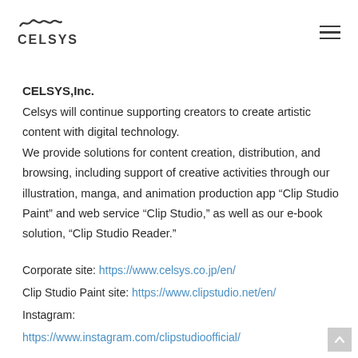[Figure (logo): CELSYS logo with squiggly line above the word CELSYS in bold capital letters]
CELSYS,Inc.
Celsys will continue supporting creators to create artistic content with digital technology. We provide solutions for content creation, distribution, and browsing, including support of creative activities through our illustration, manga, and animation production app “Clip Studio Paint” and web service “Clip Studio,” as well as our e-book solution, “Clip Studio Reader.”
Corporate site: https://www.celsys.co.jp/en/
Clip Studio Paint site: https://www.clipstudio.net/en/
Instagram:
https://www.instagram.com/clipstudioofficial/